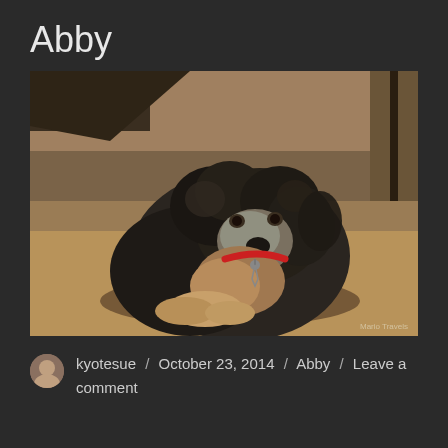Abby
[Figure (photo): A black and grey curly-haired dog (appears to be a Cocker Spaniel mix) lying on sandy/dirt ground, wearing a red collar with a tag, looking at the camera. Watermark reads 'Mario Travels' in bottom right corner.]
kyotesue / October 23, 2014 / Abby / Leave a comment